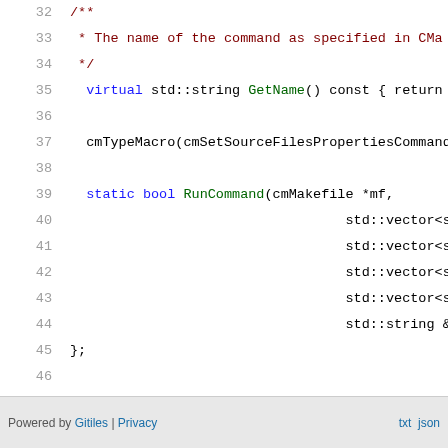[Figure (screenshot): Code viewer showing C++ source lines 32-49 with syntax highlighting. Line numbers in grey on the left, code with colored keywords, functions, comments, and preprocessor directives. Lines 40-44 show std::vector and std::string parameters. Footer bar with 'Powered by Gitiles | Privacy' and 'txt json' links.]
Powered by Gitiles | Privacy    txt  json